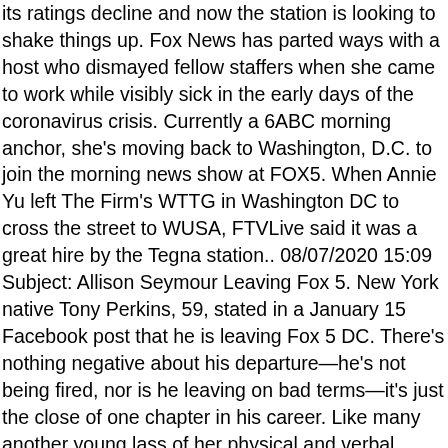its ratings decline and now the station is looking to shake things up. Fox News has parted ways with a host who dismayed fellow staffers when she came to work while visibly sick in the early days of the coronavirus crisis. Currently a 6ABC morning anchor, she's moving back to Washington, D.C. to join the morning news show at FOX5. When Annie Yu left The Firm's WTTG in Washington DC to cross the street to WUSA, FTVLive said it was a great hire by the Tegna station.. 08/07/2020 15:09 Subject: Allison Seymour Leaving Fox 5. New York native Tony Perkins, 59, stated in a January 15 Facebook post that he is leaving Fox 5 DC. There's nothing negative about his departure—he's not being fired, nor is he leaving on bad terms—it's just the close of one chapter in his career. Like many another young lass of her physical and verbal endowments, fair Catherine was a local news anchor. ... Broadcast GET UP DC! 234,879 talking about this. You can't beat Greg Gutfeld, Dana Perino, Jesse Watters or even liberal Juan Williams. She previously worked in the nation's capital as a general assignment reporter at ABC affiliate WJLA from 2014